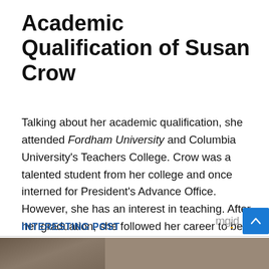Academic Qualification of Susan Crow
Talking about her academic qualification, she attended Fordham University and Columbia University's Teachers College. Crow was a talented student from her college and once interned for President's Advance Office. However, she has an interest in teaching. After her graduation, she followed her career to be a teacher.
INTERESTING POST
[Figure (logo): mgid logo with scroll-to-top button]